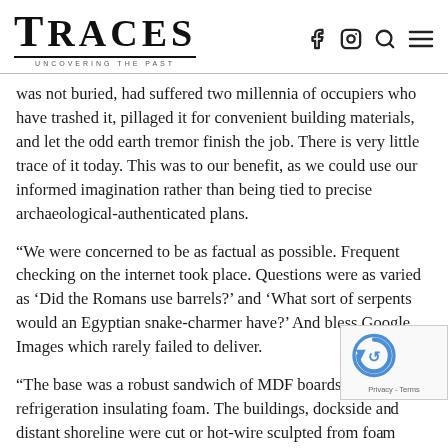TRACES — Uncovering the Past
was not buried, had suffered two millennia of occupiers who have trashed it, pillaged it for convenient building materials, and let the odd earth tremor finish the job. There is very little trace of it today. This was to our benefit, as we could use our informed imagination rather than being tied to precise archaeological-authenticated plans.
“We were concerned to be as factual as possible. Frequent checking on the internet took place. Questions were as varied as ‘Did the Romans use barrels?’ and ‘What sort of serpents would an Egyptian snake-charmer have?’ And bless Google Images which rarely failed to deliver.
“The base was a robust sandwich of MDF boards and th... refrigeration insulating foam. The buildings, dockside a... distant shoreline were cut or hot-wire sculpted from fo...